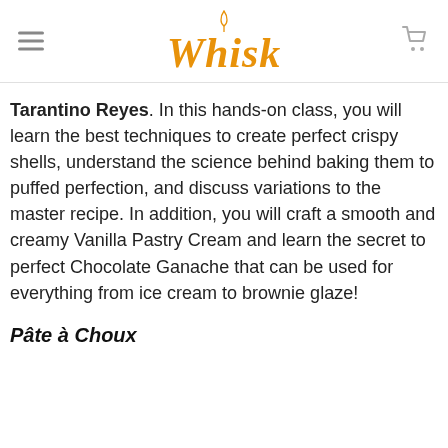Whisk
Tarantino Reyes. In this hands-on class, you will learn the best techniques to create perfect crispy shells, understand the science behind baking them to puffed perfection, and discuss variations to the master recipe. In addition, you will craft a smooth and creamy Vanilla Pastry Cream and learn the secret to perfect Chocolate Ganache that can be used for everything from ice cream to brownie glaze!
Pâte à Choux